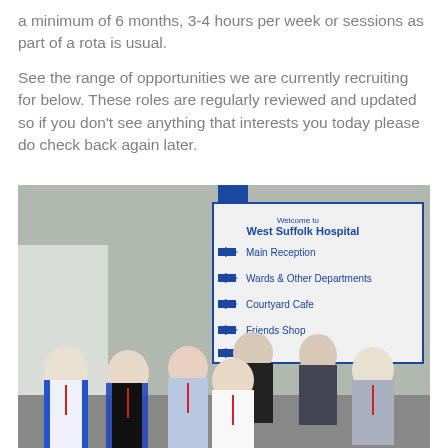a minimum of 6 months, 3-4 hours per week or sessions as part of a rota is usual.
See the range of opportunities we are currently recruiting for below. These roles are regularly reviewed and updated so if you don't see anything that interests you today please do check back again later.
[Figure (photo): Group photo of seven hospital volunteers and staff standing outside the entrance of West Suffolk Hospital. A blue directional sign is visible in the background listing: Main Reception, Wards & Other Departments, Courtyard Cafe, Friends Shop, and Pa(rking). Several people are wearing blue tabard uniforms and red lanyards.]